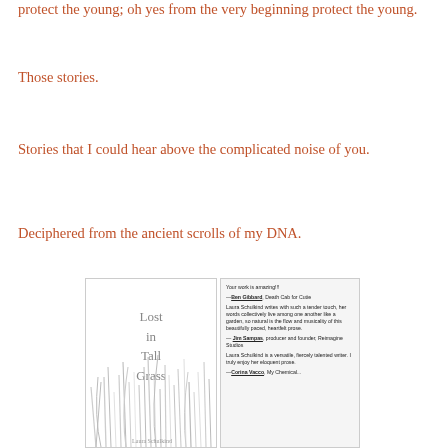protect the young; oh yes from the very beginning protect the young.
Those stories.
Stories that I could hear above the complicated noise of you.
Deciphered from the ancient scrolls of my DNA.
[Figure (photo): Book cover image of 'Lost in Tall Grass' by Laura Schulkind (left panel with grass illustration) and back cover with blurbs from Ben Gibbard, Jim Sampas, and Corina Vacco (right panel).]